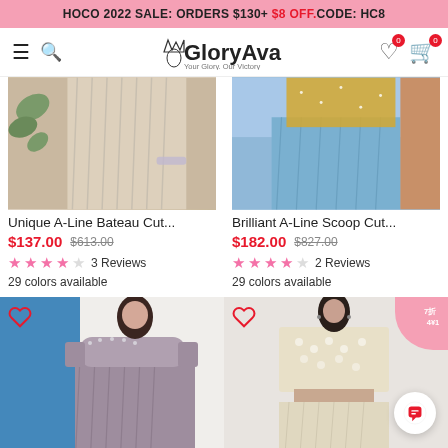HOCO 2022 SALE: ORDERS $130+ $8 OFF. CODE: HC8
[Figure (screenshot): GloryAva website navigation bar with hamburger menu, search icon, GloryAva logo with crown, wishlist and cart icons with 0 badges]
[Figure (photo): Product image: A-Line Bateau Cut dress in pink/champagne chiffon with pleating, outdoor setting]
Unique A-Line Bateau Cut...
$137.00  $613.00  ★★★★☆ 3 Reviews  29 colors available
[Figure (photo): Product image: A-Line Scoop Cut dress in blue chiffon, glittery top, outdoor setting]
Brilliant A-Line Scoop Cut...
$182.00  $827.00  ★★★★☆ 2 Reviews  29 colors available
[Figure (photo): Bottom-left product: A-Line dress in dusty purple/mauve chiffon with beaded neckline, short sleeves, sky background]
[Figure (photo): Bottom-right product: Two-piece lace/beaded outfit in cream/champagne, with sale ribbon tag, woman model]